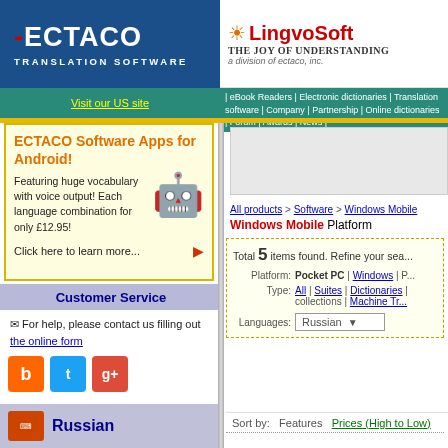[Figure (logo): ECTACO Translation Software logo on blue background]
[Figure (logo): LingvoSoft logo with sun icon, 'THE JOY OF UNDERSTANDING', a division of ectaco, inc.]
Visit our US site
| eBook Readers | Electronic dictionaries | Translation software | Company | Partnership | Online dictionaries | Forum | Awards | News |
[Figure (illustration): ECTACO Software Apps for Android advertisement with Android robot logo]
Customer Service
For help, please contact us filling out the online form
[Figure (other): Social media icons: Blogger, Twitter, Google+]
Russian
All products > Software > Windows Mobile
Windows Mobile Platform
Total 5 items found. Refine your sea...
Platform: Pocket PC | Windows | P...
Type: All | Suites | Dictionaries | ... collections | Machine Tr...
Languages: Russian
Sort by: Features   Prices (High to Low)